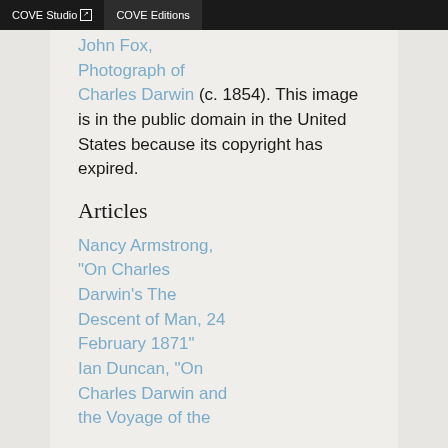COVE Studio  COVE Editions
John Fox, Photograph of Charles Darwin (c. 1854). This image is in the public domain in the United States because its copyright has expired.
Articles
Nancy Armstrong, “On Charles Darwin’s The Descent of Man, 24 February 1871” Ian Duncan, “On Charles Darwin and the Voyage of the